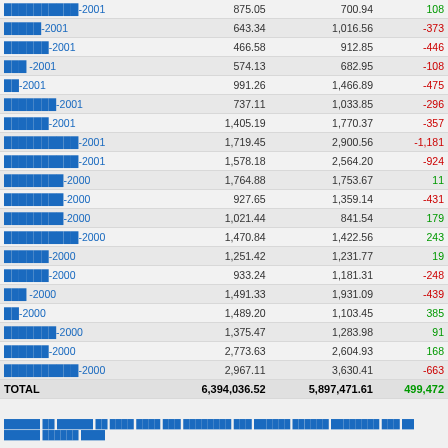| Name | Col1 | Col2 | Diff |
| --- | --- | --- | --- |
| ██████████-2001 | 875.05 | 700.94 | 108 |
| █████-2001 | 643.34 | 1,016.56 | -373 |
| ██████-2001 | 466.58 | 912.85 | -446 |
| ███ -2001 | 574.13 | 682.95 | -108 |
| ██-2001 | 991.26 | 1,466.89 | -475 |
| ███████-2001 | 737.11 | 1,033.85 | -296 |
| ██████-2001 | 1,405.19 | 1,770.37 | -357 |
| ██████████-2001 | 1,719.45 | 2,900.56 | -1,181 |
| ██████████-2001 | 1,578.18 | 2,564.20 | -924 |
| ████████-2000 | 1,764.88 | 1,753.67 | 11 |
| ████████-2000 | 927.65 | 1,359.14 | -431 |
| ████████-2000 | 1,021.44 | 841.54 | 179 |
| ██████████-2000 | 1,470.84 | 1,422.56 | 243 |
| ██████-2000 | 1,251.42 | 1,231.77 | 19 |
| ██████-2000 | 933.24 | 1,181.31 | -248 |
| ███ -2000 | 1,491.33 | 1,931.09 | -439 |
| ██-2000 | 1,489.20 | 1,103.45 | 385 |
| ███████-2000 | 1,375.47 | 1,283.98 | 91 |
| ██████-2000 | 2,773.63 | 2,604.93 | 168 |
| ██████████-2000 | 2,967.11 | 3,630.41 | -663 |
| TOTAL | 6,394,036.52 | 5,897,471.61 | 499,472 |
██████ ██ ██████ ██ ████ ████ ███ ████████ ███ ██████ ██████ ████████ ███ ██ ██████ ██████ ████